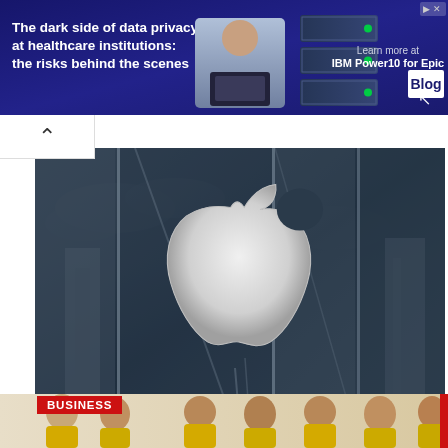[Figure (screenshot): Advertisement banner: 'The dark side of data privacy at healthcare institutions: the risks behind the scenes' with IBM Power10 for Epic Blog promotion, dark blue background with person holding laptop and server graphics]
[Figure (photo): Apple store glass facade showing large white Apple logo reflected in glass panels with cloudy sky and urban buildings in background]
Apple Becomes 1st Tech Company To Ban Caste Discrimination |...
[Figure (photo): Group photo of people in yellow shirts, BUSINESS category label in red]
BUSINESS